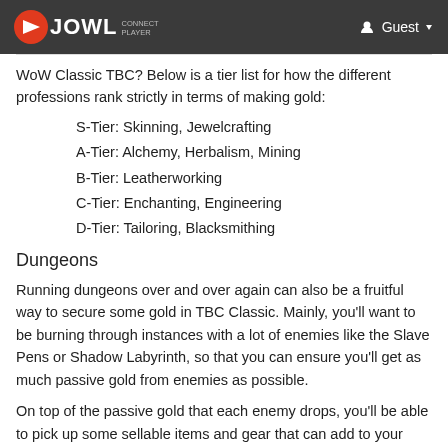NxtJOWL | Guest
WoW Classic TBC? Below is a tier list for how the different professions rank strictly in terms of making gold:
S-Tier: Skinning, Jewelcrafting
A-Tier: Alchemy, Herbalism, Mining
B-Tier: Leatherworking
C-Tier: Enchanting, Engineering
D-Tier: Tailoring, Blacksmithing
Dungeons
Running dungeons over and over again can also be a fruitful way to secure some gold in TBC Classic. Mainly, you'll want to be burning through instances with a lot of enemies like the Slave Pens or Shadow Labyrinth, so that you can ensure you'll get as much passive gold from enemies as possible.
On top of the passive gold that each enemy drops, you'll be able to pick up some sellable items and gear that can add to your total income per dungeon. Rare boss drops that other players in your groups don't want to hang on to can be sold for some decent raw gold, while bind-on-equip items can either be